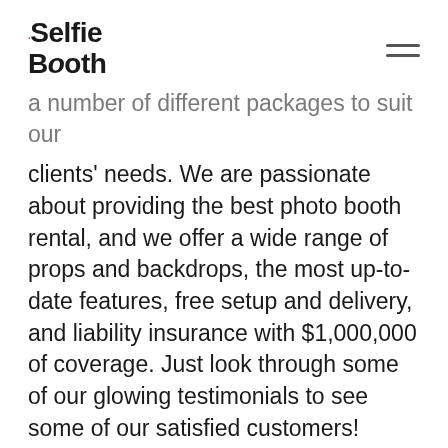Selfie Booth
a number of different packages to suit our clients' needs. We are passionate about providing the best photo booth rental, and we offer a wide range of props and backdrops, the most up-to-date features, free setup and delivery, and liability insurance with $1,000,000 of coverage. Just look through some of our glowing testimonials to see some of our satisfied customers!
So if you're looking for the right company to deliver your selfie Booth needs in Houston or San Diego, look no further! Contact us on 712…